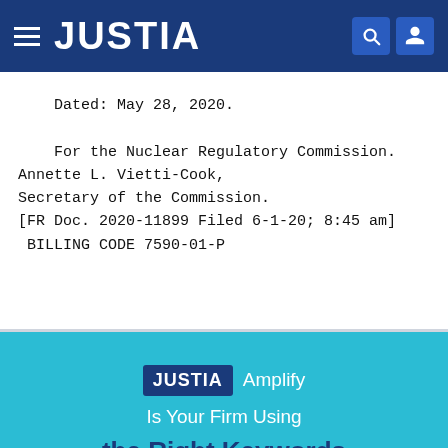JUSTIA
Dated: May 28, 2020.

    For the Nuclear Regulatory Commission.
Annette L. Vietti-Cook,
Secretary of the Commission.
[FR Doc. 2020-11899 Filed 6-1-20; 8:45 am]
 BILLING CODE 7590-01-P
[Figure (logo): JUSTIA Amplify advertisement banner with text 'Is Your Firm Using the Right Keywords']